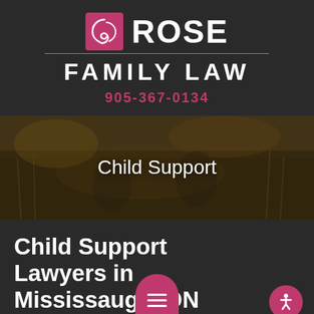[Figure (logo): Rose Family Law logo with pink square icon containing a stylized rose/swirl, followed by ROSE text and FAMILY LAW subtitle, phone number 905-367-0134]
[Figure (photo): Two children fishing outdoors near water, with warm autumn tones, overlaid with semi-transparent dark filter]
Child Support
Child Support Lawyers in Mississauga, ON
Serving Parents kville